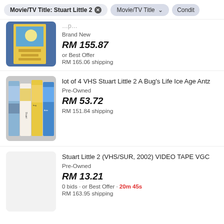Movie/TV Title: Stuart Little 2  ×  |  Movie/TV Title ∨  |  Condit…
[Figure (photo): VHS tape box with cartoon artwork, partially cut off at top]
Brand New
RM 155.87
or Best Offer
RM 165.06 shipping
[Figure (photo): Four VHS tapes standing upright: Stuart Little 2, A Bug's Life, Ice Age, Antz]
lot of 4 VHS Stuart Little 2 A Bug's Life Ice Age Antz
Pre-Owned
RM 53.72
RM 151.84 shipping
[Figure (photo): Light gray placeholder image for VHS listing]
Stuart Little 2 (VHS/SUR, 2002) VIDEO TAPE VGC
Pre-Owned
RM 13.21
0 bids · or Best Offer · 20m 45s
RM 163.95 shipping